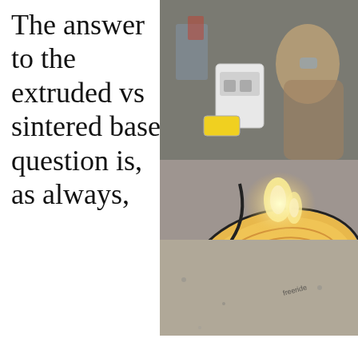The answer to the extruded vs sintered base question is, as always,
[Figure (photo): A person waxing or working on a snowboard on a workbench in a workshop/garage setting. The snowboard has orange/yellow swirl patterns on its base. There is a bright flame or light visible on the board surface. Various tools and equipment are visible in the background.]